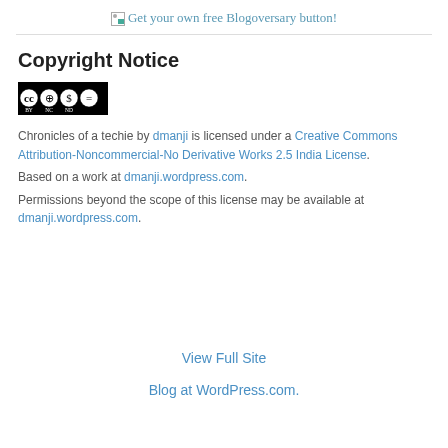[Figure (other): Broken image placeholder with link text: Get your own free Blogoversary button!]
Copyright Notice
[Figure (logo): Creative Commons license badge: CC BY-NC-ND]
Chronicles of a techie by dmanji is licensed under a Creative Commons Attribution-Noncommercial-No Derivative Works 2.5 India License. Based on a work at dmanji.wordpress.com. Permissions beyond the scope of this license may be available at dmanji.wordpress.com.
View Full Site
Blog at WordPress.com.